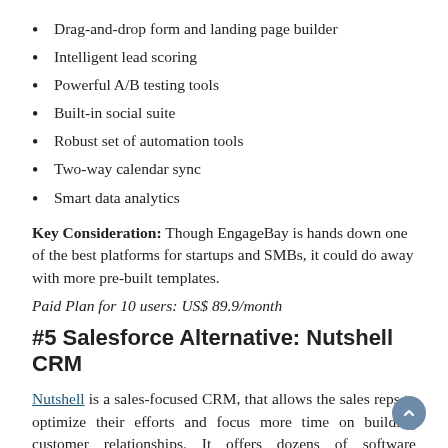Drag-and-drop form and landing page builder
Intelligent lead scoring
Powerful A/B testing tools
Built-in social suite
Robust set of automation tools
Two-way calendar sync
Smart data analytics
Key Consideration: Though EngageBay is hands down one of the best platforms for startups and SMBs, it could do away with more pre-built templates.
Paid Plan for 10 users: US$ 89.9/month
#5 Salesforce Alternative: Nutshell CRM
Nutshell is a sales-focused CRM, that allows the sales reps to optimize their efforts and focus more time on building customer relationships. It offers dozens of software integrations for accounting, email marketing, communication etc.